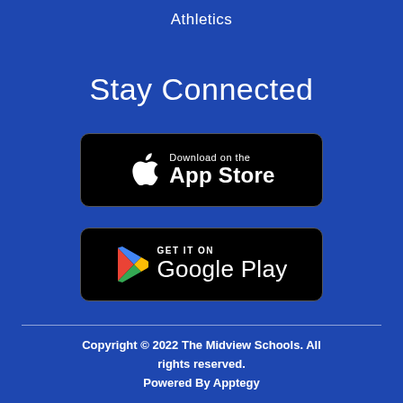Athletics
Stay Connected
[Figure (logo): Apple App Store download badge — black rounded rectangle with Apple logo and text 'Download on the App Store']
[Figure (logo): Google Play download badge — black rounded rectangle with Google Play triangle logo and text 'GET IT ON Google Play']
Copyright © 2022 The Midview Schools. All rights reserved.
Powered By Apptegy